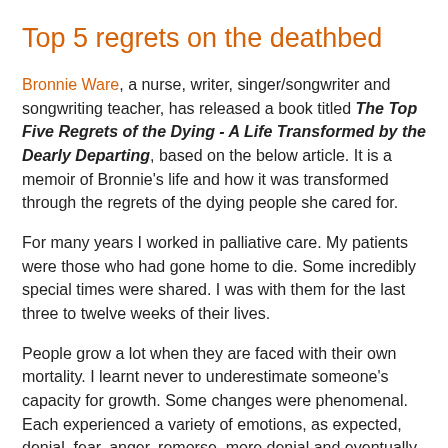Top 5 regrets on the deathbed
Bronnie Ware, a nurse, writer, singer/songwriter and songwriting teacher, has released a book titled The Top Five Regrets of the Dying - A Life Transformed by the Dearly Departing, based on the below article. It is a memoir of Bronnie’s life and how it was transformed through the regrets of the dying people she cared for.
For many years I worked in palliative care. My patients were those who had gone home to die. Some incredibly special times were shared. I was with them for the last three to twelve weeks of their lives.
People grow a lot when they are faced with their own mortality. I learnt never to underestimate someone’s capacity for growth. Some changes were phenomenal. Each experienced a variety of emotions, as expected, denial, fear, anger, remorse, more denial and eventually acceptance. Every single patient found their peace before they departed though, every one of them.